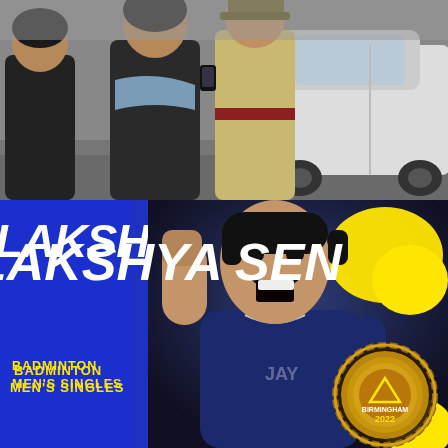[Figure (photo): Top panel: Outdoor scene showing a woman in dark jacket with blue scarf, a police officer in khaki uniform with red belt, and a white car. Appears to be a street or parking lot setting.]
[Figure (photo): Bottom panel: Sports promotional graphic showing Lakshya Sen celebrating with raised fist and open mouth expression, wearing dark blue jersey. Blue vertical banner on the left with text 'LAKSHYA SEN' in white and 'BADMINTON MEN'S SINGLES' in yellow. A Birmingham 2022 Commonwealth Games gold medal shown in the bottom right, with yellow blob decorative shapes. Dark navy background.]
LAKSHYA SEN
BADMINTON MEN'S SINGLES
BIRMINGHAM 2022